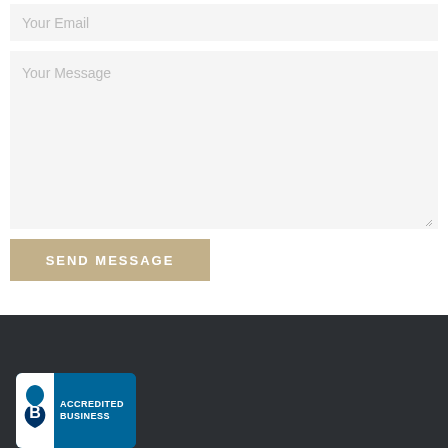Your Email
Your Message
SEND MESSAGE
[Figure (logo): BBB Accredited Business badge with blue background, white BBB flame logo on left, and 'ACCREDITED BUSINESS' text on right]